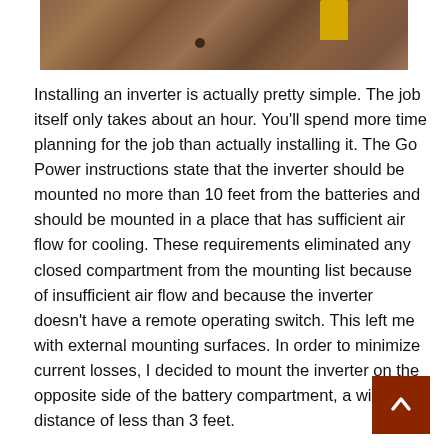[Figure (photo): Close-up photo of a wooden surface with a yellow object visible at the top and a dark screw or bolt on the wood surface.]
Installing an inverter is actually pretty simple. The job itself only takes about an hour. You'll spend more time planning for the job than actually installing it. The Go Power instructions state that the inverter should be mounted no more than 10 feet from the batteries and should be mounted in a place that has sufficient air flow for cooling. These requirements eliminated any closed compartment from the mounting list because of insufficient air flow and because the inverter doesn't have a remote operating switch. This left me with external mounting surfaces. In order to minimize current losses, I decided to mount the inverter on the opposite side of the battery compartment, a wiring distance of less than 3 feet.